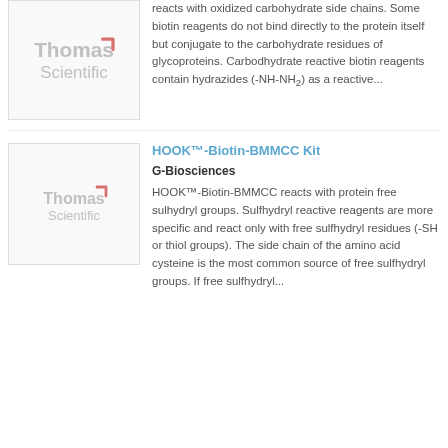[Figure (logo): Thomas Scientific logo placeholder image in a bordered box]
reacts with oxidized carbohydrate side chains. Some biotin reagents do not bind directly to the protein itself but conjugate to the carbohydrate residues of glycoproteins. Carbodhydrate reactive biotin reagents contain hydrazides (-NH-NH2) as a reactive...
[Figure (logo): Thomas Scientific logo placeholder image in a bordered box]
HOOK™-Biotin-BMMCC Kit
G-Biosciences
HOOK™-Biotin-BMMCC reacts with protein free sulhydryl groups. Sulfhydryl reactive reagents are more specific and react only with free sulfhydryl residues (-SH or thiol groups). The side chain of the amino acid cysteine is the most common source of free sulfhydryl groups. If free sulfhydryl...